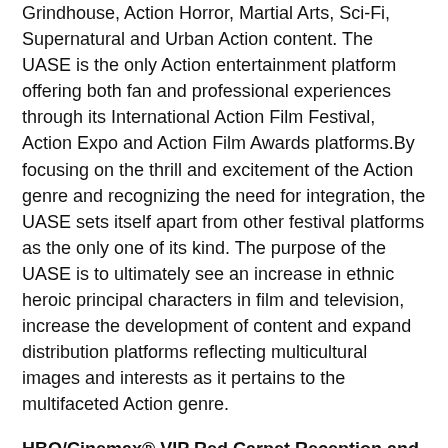Grindhouse, Action Horror, Martial Arts, Sci-Fi, Supernatural and Urban Action content. The UASE is the only Action entertainment platform offering both fan and professional experiences through its International Action Film Festival, Action Expo and Action Film Awards platforms.By focusing on the thrill and excitement of the Action genre and recognizing the need for integration, the UASE sets itself apart from other festival platforms as the only one of its kind. The purpose of the UASE is to ultimately see an increase in ethnic heroic principal characters in film and television, increase the development of content and expand distribution platforms reflecting multicultural images and interests as it pertains to the multifaceted Action genre.
HBO/Cinemax® VIP Red Carpet Reception and Awards: Friday, November 8th, 6 p.m. – 11 p.m. at AMC Empire 25 Theaters (234 West 42nd Street Times Square NYC)
UAS International Action Film Festival Awards
Diversity in Action Awards (Honoring the Past Present and